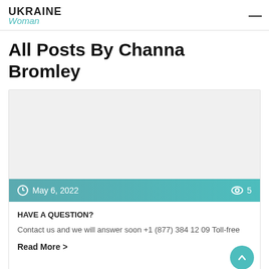UKRAINE Woman
All Posts By Channa Bromley
[Figure (other): Blog post card image placeholder (grey rectangle)]
May 6, 2022   5
HAVE A QUESTION?
Contact us and we will answer soon +1 (877) 384 12 09 Toll-free
Read More >